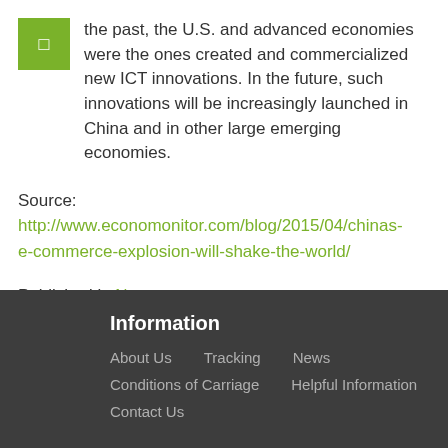the past, the U.S. and advanced economies were the ones created and commercialized new ICT innovations. In the future, such innovations will be increasingly launched in China and in other large emerging economies.
Source: http://www.economonitor.com/blog/2015/04/chinas-e-commerce-explosion-will-shake-the-world/
Published in News
Read more...
Information
About Us
Tracking
News
Conditions of Carriage
Helpful Information
Contact Us